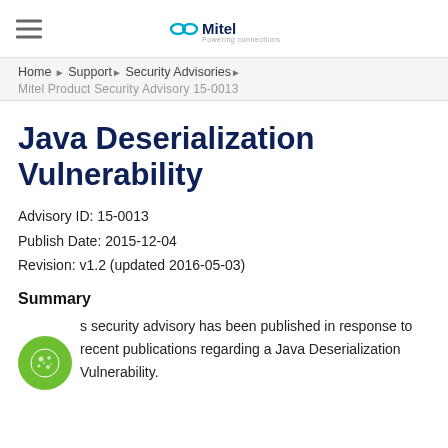Mitel — Powering connections
Home ▶ Support ▶ Security Advisories ▶
Mitel Product Security Advisory 15-0013
Java Deserialization Vulnerability
Advisory ID: 15-0013
Publish Date: 2015-12-04
Revision: v1.2 (updated 2016-05-03)
Summary
This security advisory has been published in response to recent publications regarding a Java Deserialization Vulnerability.